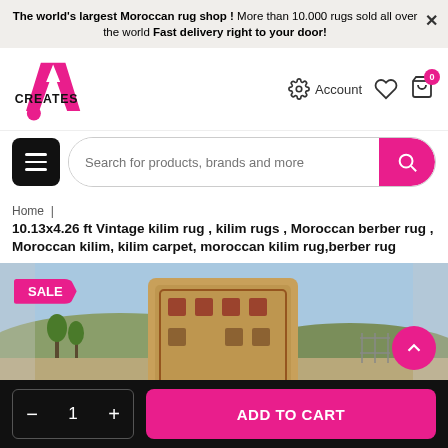The world's largest Moroccan rug shop ! More than 10.000 rugs sold all over the world Fast delivery right to your door!
[Figure (logo): Creates.A brand logo with pink A shape and dot, text CREATES below]
Account
Search for products, brands and more
Home | 10.13x4.26 ft Vintage kilim rug , kilim rugs , Moroccan berber rug , Moroccan kilim, kilim carpet, moroccan kilim rug,berber rug
[Figure (photo): Outdoor photo of a vintage kilim rug displayed standing in a field with hills and blue sky in background. SALE badge visible on top left.]
SALE
- 1 + ADD TO CART